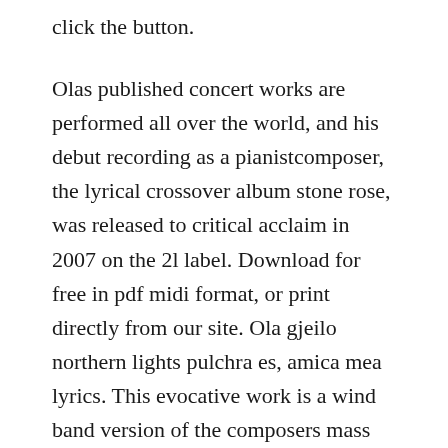click the button.
Olas published concert works are performed all over the world, and his debut recording as a pianistcomposer, the lyrical crossover album stone rose, was released to critical acclaim in 2007 on the 2l label. Download for free in pdf midi format, or print directly from our site. Ola gjeilo northern lights pulchra es, amica mea lyrics. This evocative work is a wind band version of the composers mass for choir and string orchestra entitled sunrise. Ssaa choir, piano accompaniment, optional string